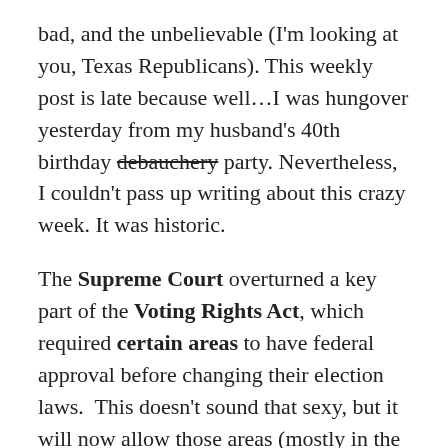bad, and the unbelievable (I'm looking at you, Texas Republicans). This weekly post is late because well…I was hungover yesterday from my husband's 40th birthday debauchery party. Nevertheless, I couldn't pass up writing about this crazy week. It was historic.
The Supreme Court overturned a key part of the Voting Rights Act, which required certain areas to have federal approval before changing their election laws.  This doesn't sound that sexy, but it will now allow those areas (mostly in the south) to pass potentially discriminatory laws that will affect voter turnout of minorities. Now, for example, those areas can impose such things as literacy tests, or ID requirements and other documentation that would act as a poll tax.